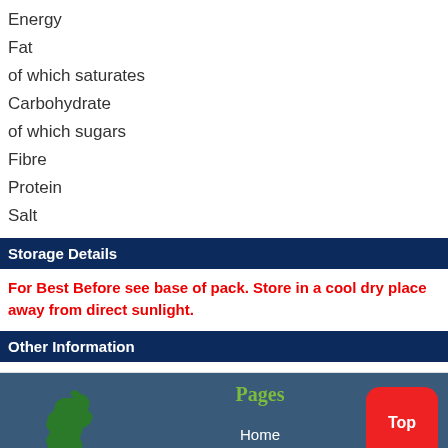Energy
Fat
of which saturates
Carbohydrate
of which sugars
Fibre
Protein
Salt
Storage Details
For Best Before see base of pack. Store in a cool dry place away from direct sunlight.
Other Information
[Figure (logo): Sugro logo with UK map silhouette in green and red script text]
Pages
Home
Top